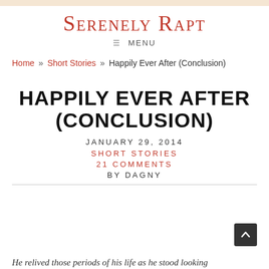Serenely Rapt
≡ MENU
Home » Short Stories » Happily Ever After (Conclusion)
HAPPILY EVER AFTER (CONCLUSION)
JANUARY 29, 2014
SHORT STORIES
21 COMMENTS
BY DAGNY
He relived those periods of his life as he stood looking